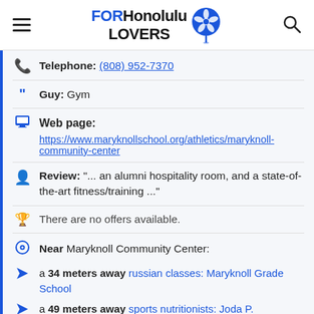FORHonolulu LOVERS
Telephone: (808) 952-7370
Guy: Gym
Web page:
https://www.maryknollschool.org/athletics/maryknoll-community-center
Review: "... an alumni hospitality room, and a state-of-the-art fitness/training ..."
There are no offers available.
Near Maryknoll Community Center:
a 34 meters away russian classes: Maryknoll Grade School
a 49 meters away sports nutritionists: Joda P.